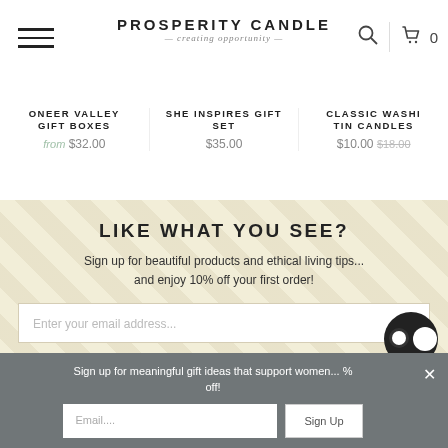PROSPERITY CANDLE — creating opportunity —
ONEER VALLEY GIFT BOXES from $32.00
SHE INSPIRES GIFT SET $35.00
CLASSIC WASHI TIN CANDLES $10.00 $18.00
LIKE WHAT YOU SEE?
Sign up for beautiful products and ethical living tips... and enjoy 10% off your first order!
Enter your email address...
SIGN UP
Sign up for meaningful gift ideas that support women... % off!
Email....
Sign Up